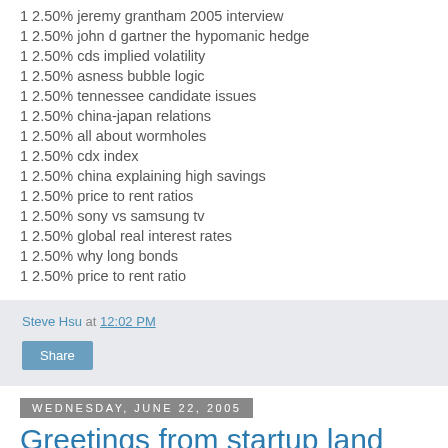1 2.50% jeremy grantham 2005 interview
1 2.50% john d gartner the hypomanic hedge
1 2.50% cds implied volatility
1 2.50% asness bubble logic
1 2.50% tennessee candidate issues
1 2.50% china-japan relations
1 2.50% all about wormholes
1 2.50% cdx index
1 2.50% china explaining high savings
1 2.50% price to rent ratios
1 2.50% sony vs samsung tv
1 2.50% global real interest rates
1 2.50% why long bonds
1 2.50% price to rent ratio
Steve Hsu at 12:02 PM
Share
Wednesday, June 22, 2005
Greetings from startup land